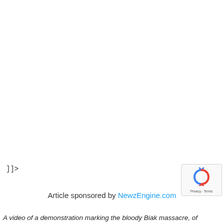[Figure (logo): Twitter Tweet button with bird icon, blue rounded rectangle]
]]>
Article sponsored by NewzEngine.com
[Figure (other): reCAPTCHA badge with spinning arrows icon and Privacy - Terms text]
A video of a demonstration marking the bloody Biak massacre, of